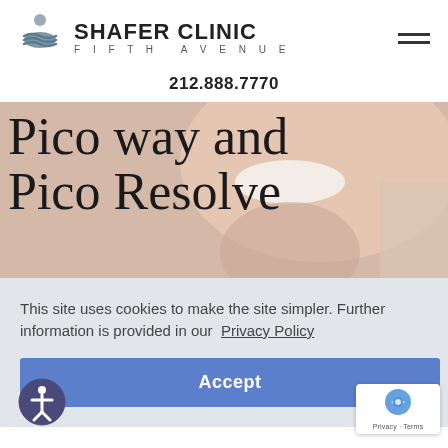[Figure (logo): Shafer Clinic Fifth Avenue logo with stylized spa/wellness icon in blue-grey tones, clinic name in bold, subtitle in spaced caps]
212.888.7770
[Figure (photo): Hero image of smiling woman's lower face and neck, with large serif text overlay reading 'Pico way and Pico Resolve']
This site uses cookies to make the site simpler. Further information is provided in our  Privacy Policy
Accept